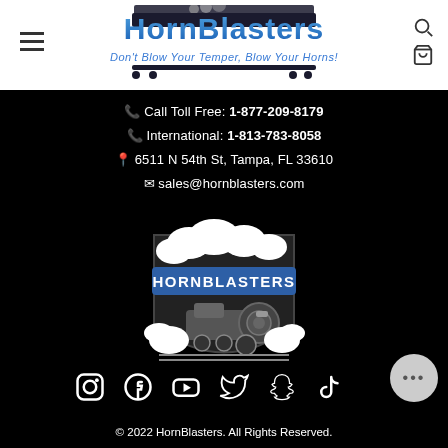[Figure (logo): HornBlasters logo with train and tagline 'Don't Blow Your Temper, Blow Your Horns!']
Call Toll Free: 1-877-209-8179
International: 1-813-783-8058
6511 N 54th St, Tampa, FL 33610
sales@hornblasters.com
[Figure (logo): HornBlasters round badge logo with train locomotive on black background]
[Figure (other): Social media icons: Instagram, Facebook, YouTube, Twitter, Snapchat, TikTok]
© 2022 HornBlasters. All Rights Reserved.